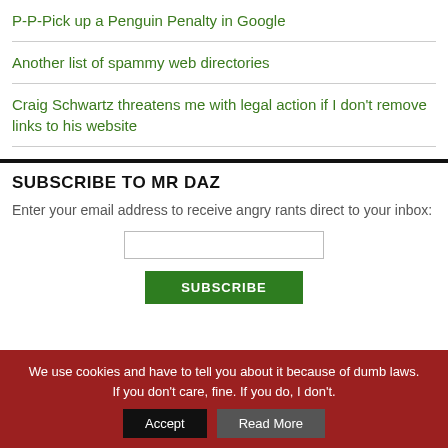P-P-Pick up a Penguin Penalty in Google
Another list of spammy web directories
Craig Schwartz threatens me with legal action if I don't remove links to his website
SUBSCRIBE TO MR DAZ
Enter your email address to receive angry rants direct to your inbox:
SUBSCRIBE (button)
We use cookies and have to tell you about it because of dumb laws. If you don't care, fine. If you do, I don't.